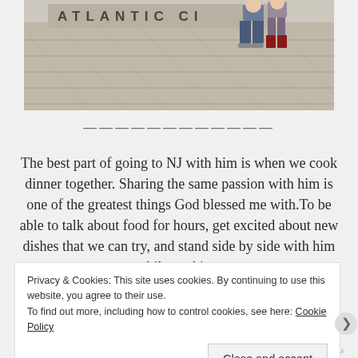[Figure (photo): Photo of a stone paved plaza with sign reading 'ATLANTIC CI' (Atlantic City), two people sitting on the ledge of the sign, one wearing jeans and sneakers, the other wearing red/maroon boots.]
————————————
The best part of going to NJ with him is when we cook dinner together. Sharing the same passion with him is one of the greatest things God blessed me with.To be able to talk about food for hours, get excited about new dishes that we can try, and stand side by side with him while cooking.
Privacy & Cookies: This site uses cookies. By continuing to use this website, you agree to their use.
To find out more, including how to control cookies, see here: Cookie Policy
Close and accept